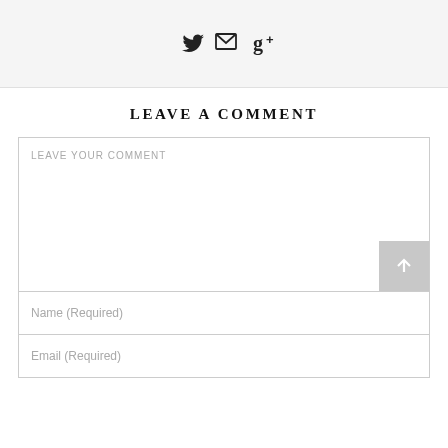[Figure (other): Social sharing icons: Twitter bird icon, envelope/mail icon, and Google+ icon with superscript plus sign]
LEAVE A COMMENT
LEAVE YOUR COMMENT
Name (Required)
Email (Required)